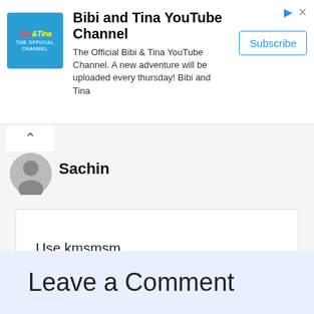[Figure (other): Ad banner: Bibi and Tina YouTube Channel logo (teal square with stylized text), channel name, description, and Subscribe button]
Bibi and Tina YouTube Channel
The Official Bibi & Tina YouTube Channel. A new adventure will be uploaded every thursday! Bibi and Tina
Sachin
Use kmsmsm
Reply
Leave a Comment